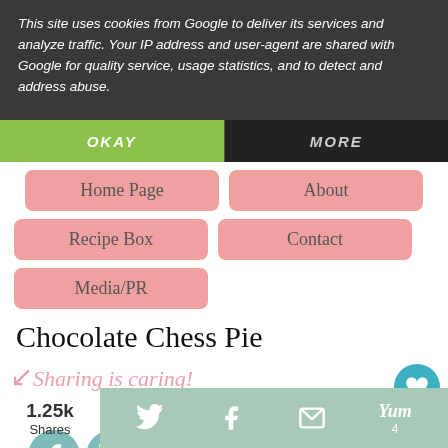This site uses cookies from Google to deliver its services and analyze traffic. Your IP address and user-agent are shared with Google for quality service, usage statistics, and to detect and address abuse.
OKAY
MORE
Home Page
About
Recipe Box
Contact
Media/PR
Chocolate Chess Pie
Sharing is caring!
5.52k
4
5
1.25k Shares
4